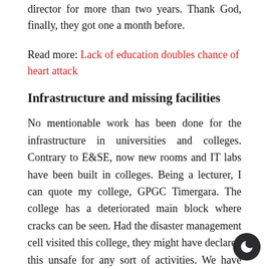director for more than two years. Thank God, finally, they got one a month before.
Read more: Lack of education doubles chance of heart attack
Infrastructure and missing facilities
No mentionable work has been done for the infrastructure in universities and colleges. Contrary to E&SE, now new rooms and IT labs have been built in colleges. Being a lecturer, I can quote my college, GPGC Timergara. The college has a deteriorated main block where cracks can be seen. Had the disaster management cell visited this college, they might have declared this unsafe for any sort of activities. We have asked the Directorate, Secretariat, and government to make a new building for us but they have turned a deaf ear to our demands. I will invite everyone to visit our examination hall which is not less than the ruins of Moenjodaro and Harappa. Ironically, the college does not have an auditorium. Same is the case in other colleges of the province. In these three and